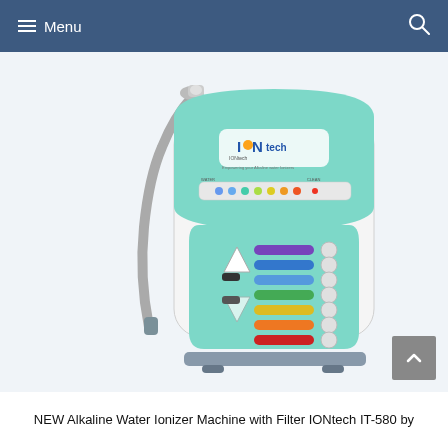Menu
[Figure (photo): IONtech IT-580 Alkaline Water Ionizer Machine with Filter, white and teal colored appliance with flexible metallic hose/spout on the left side, control panel with colored buttons on the front, and IONtech branding logo on the upper panel. Product is shown on a white background.]
NEW Alkaline Water Ionizer Machine with Filter IONtech IT-580 by